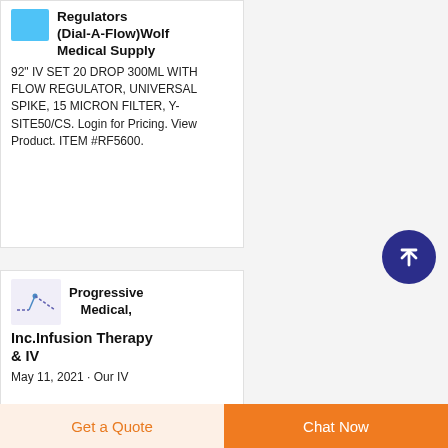[Figure (photo): Blue product thumbnail image for IV flow regulator]
Regulators (Dial-A-Flow)Wolf Medical Supply
92" IV SET 20 DROP 300ML WITH FLOW REGULATOR, UNIVERSAL SPIKE, 15 MICRON FILTER, Y-SITE50/CS. Login for Pricing. View Product. ITEM #RF5600.
[Figure (logo): Progressive Medical logo with dashed line graphic on light purple background]
Progressive Medical, Inc.Infusion Therapy & IV
May 11, 2021 · Our IV